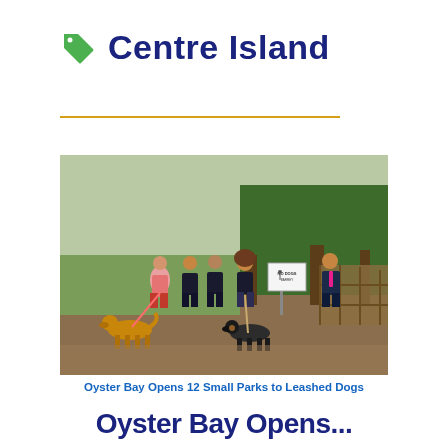Centre Island
[Figure (photo): Group of five people standing outdoors in a park or open field area with two dogs on leashes. A sign is visible in the background. Trees and a wooden fence are visible. The setting appears to be a public park.]
Oyster Bay Opens 12 Small Parks to Leashed Dogs
Oyster Bay Opens...